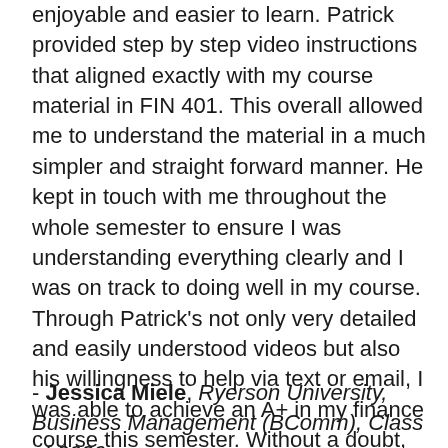enjoyable and easier to learn. Patrick provided step by step video instructions that aligned exactly with my course material in FIN 401. This overall allowed me to understand the material in a much simpler and straight forward manner. He kept in touch with me throughout the whole semester to ensure I was understanding everything clearly and I was on track to doing well in my course. Through Patrick's not only very detailed and easily understood videos but also his willingness to help via text or email, I was able to achieve an A+ in my finance course this semester. Without a doubt, Patrick is the reason I was able to achieve this mark as I relied on his videos and explanations to learn and study from."
- Jessica Miele, Ryerson University, Business Management (BComm), Class of 2020